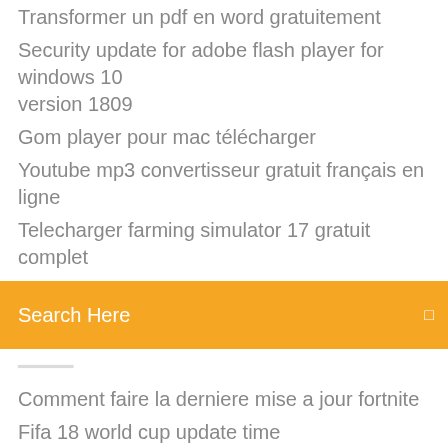Transformer un pdf en word gratuitement
Security update for adobe flash player for windows 10 version 1809
Gom player pour mac télécharger
Youtube mp3 convertisseur gratuit français en ligne
Telecharger farming simulator 17 gratuit complet
[Figure (screenshot): Orange search bar with text 'Search Here' and a small icon on the right]
Comment faire la derniere mise a jour fortnite
Fifa 18 world cup update time
Logiciel photo gratuit pour mac os x
Amd catalyst control center windows 10 x64
Lancer application 32 bits sur windows 7 64 bits
Driver samsung s7 edge télécharger
Alternative to google drive and dropbox
Logiciel transfert contact android vers pc
Ccleaner windows 7 32 bits softonic
Erp open source free